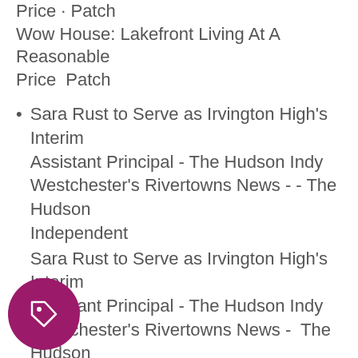Price · Patch  Wow House: Lakefront Living At A Reasonable Price  Patch
Sara Rust to Serve as Irvington High's Interim Assistant Principal - The Hudson Indy Westchester's Rivertowns News - - The Hudson Independent  Sara Rust to Serve as Irvington High's Interim Assistant Principal - The Hudson Indy Westchester's Rivertowns News -  The Hudson Independent
H...rstraw Man Sentenced For Child Sexual  Patch  ...traw Man Sentenced For Child Sexual ...